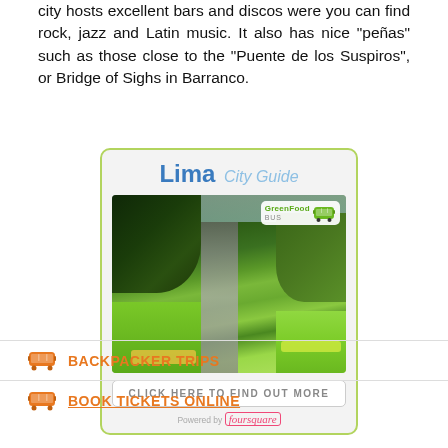city hosts excellent bars and discos were you can find rock, jazz and Latin music. It also has nice "peñas" such as those close to the "Puente de los Suspiros", or Bridge of Sighs in Barranco.
[Figure (infographic): Lima City Guide promotional box with park photo, GreenFood Bus badge, 'Click Here to Find Out More' button, and Powered by foursquare footer]
BACKPACKER TRIPS
BOOK TICKETS ONLINE